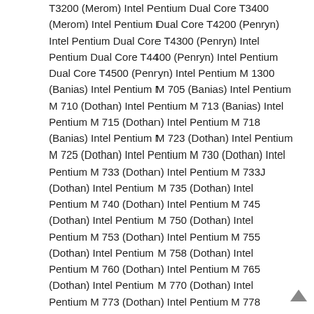T3200 (Merom) Intel Pentium Dual Core T3400 (Merom) Intel Pentium Dual Core T4200 (Penryn) Intel Pentium Dual Core T4300 (Penryn) Intel Pentium Dual Core T4400 (Penryn) Intel Pentium Dual Core T4500 (Penryn) Intel Pentium M 1300 (Banias) Intel Pentium M 705 (Banias) Intel Pentium M 710 (Dothan) Intel Pentium M 713 (Banias) Intel Pentium M 715 (Dothan) Intel Pentium M 718 (Banias) Intel Pentium M 723 (Dothan) Intel Pentium M 725 (Dothan) Intel Pentium M 730 (Dothan) Intel Pentium M 733 (Dothan) Intel Pentium M 733J (Dothan) Intel Pentium M 735 (Dothan) Intel Pentium M 740 (Dothan) Intel Pentium M 745 (Dothan) Intel Pentium M 750 (Dothan) Intel Pentium M 753 (Dothan) Intel Pentium M 755 (Dothan) Intel Pentium M 758 (Dothan) Intel Pentium M 760 (Dothan) Intel Pentium M 765 (Dothan) Intel Pentium M 770 (Dothan) Intel Pentium M 773 (Dothan) Intel Pentium M 778 (Dothan) Intel Pentium M 780 (Dothan) Intel Pentium M P-M 600 (Dothan) Intel Pentium M ULV 900 (Banias) Intel Pentium P6000 (Arrandale) Intel Pentium P6100 (Arrandale) Intel Pentium SU2700 (Penryn) Intel Pentium U5400 (Arrandale) Intel Pentium U5600 (Arrandale) Motorola PowerPC G4 G4 1.0 (7447) Motorola PowerPC G4 G4 1.3 (7447) Motorola PowerPC G4 G4A 1.5 (7447A) Transmeta Crusoe TM-5800 (Crusoe) VIA C3-M C3-M-1200 (Nehemiah) VIA C3-M C3-M-1500 (Nehemiah) VIA C7-M C7-M-1000 (Esther) VIA